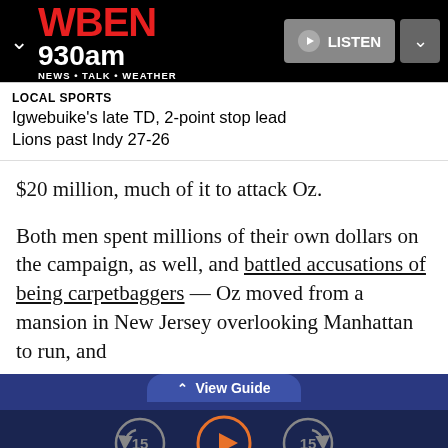[Figure (logo): WBEN 930am NEWS TALK WEATHER radio station logo with red WBEN text and white 930am below, LISTEN button and chevron controls on the right]
LOCAL SPORTS
Igwebuike's late TD, 2-point stop lead Lions past Indy 27-26
$20 million, much of it to attack Oz.

Both men spent millions of their own dollars on the campaign, as well, and battled accusations of being carpetbaggers — Oz moved from a mansion in New Jersey overlooking Manhattan to run, and
∧ View Guide
[Figure (screenshot): Audio player controls: skip back 15 seconds, play button (orange circle), skip forward 15 seconds]